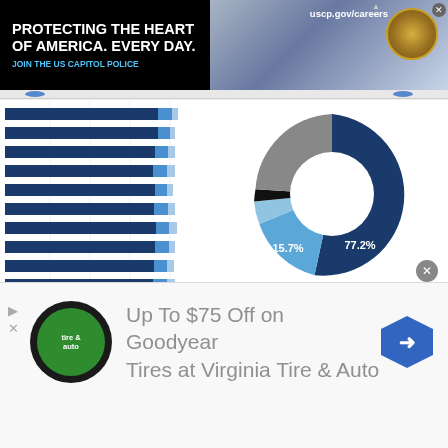[Figure (screenshot): US Capitol Police advertisement banner: black background with white bold text 'PROTECTING THE HEART OF AMERICA. EVERY DAY.' and blue subtext 'JOIN THE US CAPITOL POLICE', along with a photo of Capitol building and USCP seal, URL uscp.gov/careers]
[Figure (bar-chart): Horizontal bar chart with multiple rows of dark blue and light blue bars, partially visible on left side of content area]
[Figure (donut-chart): Donut chart]
[Figure (screenshot): Bottom advertisement: Virginia Tire & Auto offering Up To $75 Off on Goodyear Tires]